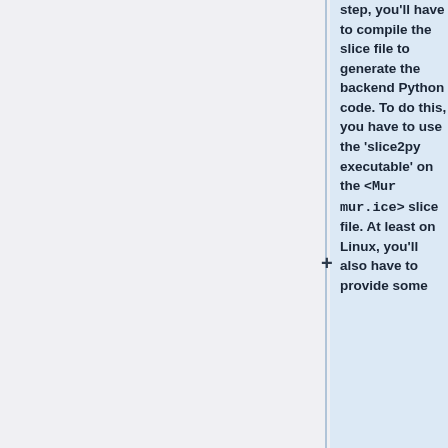step, you'll have to compile the slice file to generate the backend Python code. To do this, you have to use the 'slice2py executable' on the <code>Murmur.ice</code> slice file. At least on Linux, you'll also have to provide some